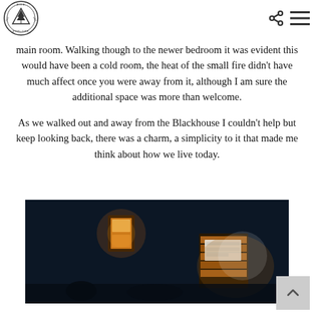main room. Walking though to the newer bedroom it was evident this would have been a cold room, the heat of the small fire didn't have much affect once you were away from it, although I am sure the additional space was more than welcome.

As we walked out and away from the Blackhouse I couldn't help but keep looking back, there was a charm, a simplicity to it that made me think about how we live today.
[Figure (photo): Dark night-time photograph showing two illuminated structures or lanterns against a very dark background, with warm glowing light visible through openings.]